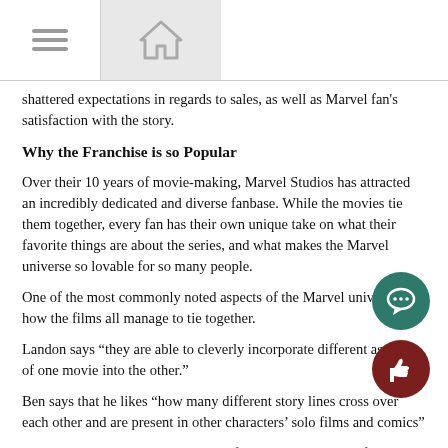[Navigation bar with menu icon and home icon]
shattered expectations in regards to sales, as well as Marvel fan's satisfaction with the story.
Why the Franchise is so Popular
Over their 10 years of movie-making, Marvel Studios has attracted an incredibly dedicated and diverse fanbase. While the movies tie them together, every fan has their own unique take on what their favorite things are about the series, and what makes the Marvel universe so lovable for so many people.
One of the most commonly noted aspects of the Marvel universe is how the films all manage to tie together.
Landon says “they are able to cleverly incorporate different aspects of one movie into the other.”
Ben says that he likes “how many different story lines cross over each other and are present in other characters’ solo films and comics”
However, this isn’t the only aspect of the universe that the fans love.